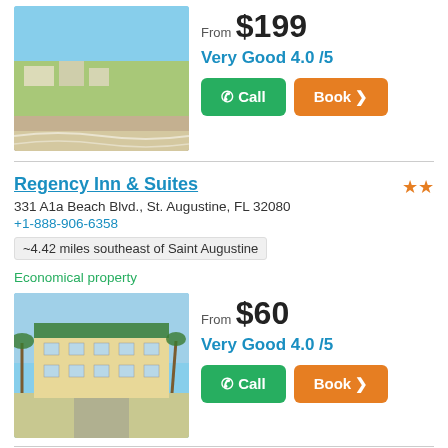[Figure (photo): Aerial photo of beach and coastal buildings]
From $199
Very Good 4.0 /5
Call | Book >
Regency Inn & Suites
331 A1a Beach Blvd., St. Augustine, FL 32080
+1-888-906-6358
~4.42 miles southeast of Saint Augustine
Economical property
[Figure (photo): Photo of Regency Inn & Suites exterior with palm trees and green roof]
From $60
Very Good 4.0 /5
Call | Book >
Hilton Garden Inn St. Augustine Beach :
401 A1a Beach Blvd., Saint Augustine, FL 32080